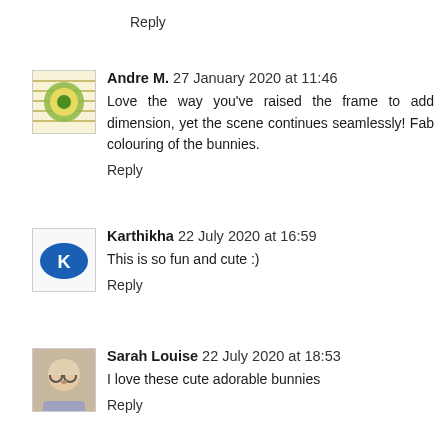Reply
[Figure (illustration): Avatar image for Andre M. - decorative square illustration with green/yellow circular design on striped background]
Andre M.  27 January 2020 at 11:46
Love the way you've raised the frame to add dimension, yet the scene continues seamlessly! Fab colouring of the bunnies.
Reply
[Figure (logo): Avatar image for Karthikha - circular blue logo with letter K]
Karthikha  22 July 2020 at 16:59
This is so fun and cute :)
Reply
[Figure (photo): Avatar photo for Sarah Louise - person wearing glasses]
Sarah Louise  22 July 2020 at 18:53
I love these cute adorable bunnies
Reply